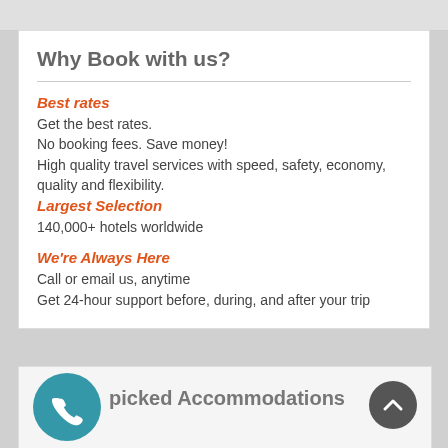Why Book with us?
Best rates
Get the best rates.
No booking fees. Save money!
High quality travel services with speed, safety, economy, quality and flexibility.
Largest Selection
140,000+ hotels worldwide
We're Always Here
Call or email us, anytime
Get 24-hour support before, during, and after your trip
picked Accommodations